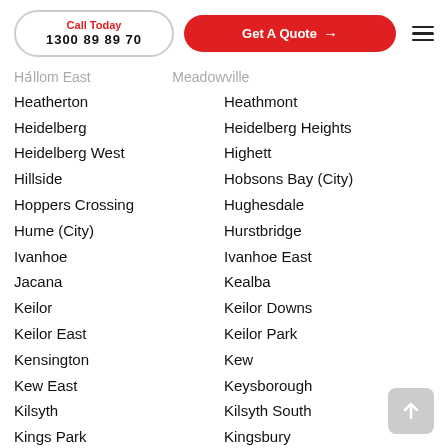Call Today 1300 89 89 70 | Get A Quote →
Heatherton
Heidelberg
Heidelberg West
Hillside
Hoppers Crossing
Hume (City)
Ivanhoe
Jacana
Keilor
Keilor East
Kensington
Kew East
Kilsyth
Kings Park
Kingston (City)
Knox (City)
Koo Wee Rup
Lalor
Heathmont
Heidelberg Heights
Highett
Hobsons Bay (City)
Hughesdale
Hurstbridge
Ivanhoe East
Kealba
Keilor Downs
Keilor Park
Kew
Keysborough
Kilsyth South
Kingsbury
Kingsville
Knoxfield
Kurunjang
Lancefield